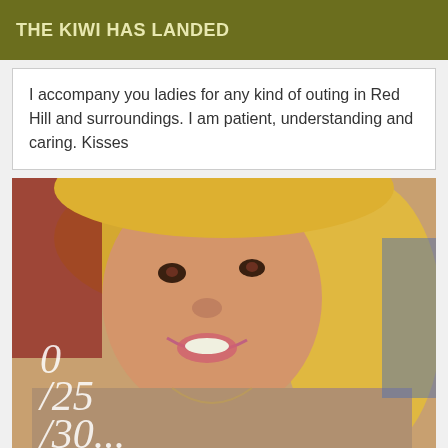THE KIWI HAS LANDED
I accompany you ladies for any kind of outing in Red Hill and surroundings. I am patient, understanding and caring. Kisses
[Figure (photo): Selfie photo of a blonde woman smiling, with a partial phone number visible (0/25/30...) overlaid on the lower left of the image]